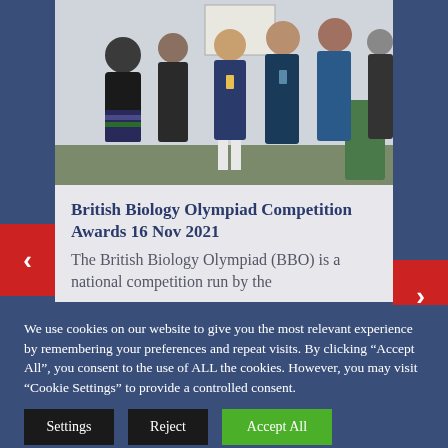[Figure (photo): Group photo of students and adults (award ceremony), standing in a room with blue carpet, some wearing blue jackets/polo shirts.]
British Biology Olympiad Competition Awards 16 Nov 2021
The British Biology Olympiad (BBO) is a national competition run by the
We use cookies on our website to give you the most relevant experience by remembering your preferences and repeat visits. By clicking "Accept All", you consent to the use of ALL the cookies. However, you may visit "Cookie Settings" to provide a controlled consent.